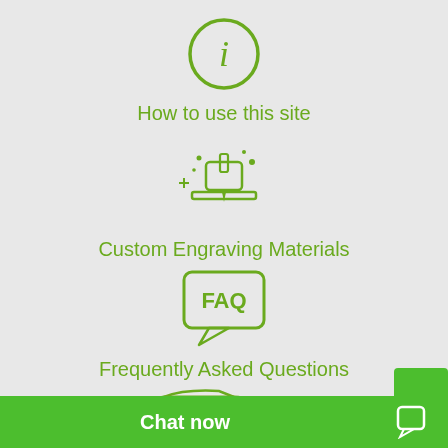[Figure (illustration): Green info circle icon with italic i]
How to use this site
[Figure (illustration): Green engraving laser machine with sparkles icon]
Custom Engraving Materials
[Figure (illustration): Green speech bubble with FAQ text inside]
Frequently Asked Questions
[Figure (illustration): Green engraving machine / laser cutter icon]
Engraving Machines
Chat now